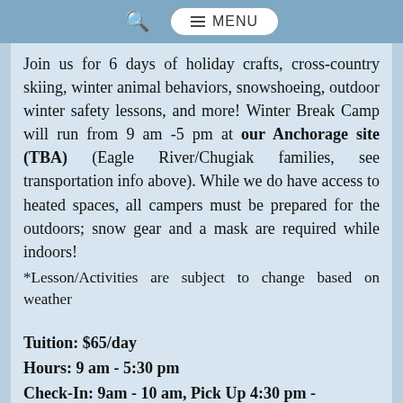MENU
Join us for 6 days of holiday crafts, cross-country skiing, winter animal behaviors, snowshoeing, outdoor winter safety lessons, and more! Winter Break Camp will run from 9 am -5 pm at our Anchorage site (TBA) (Eagle River/Chugiak families, see transportation info above). While we do have access to heated spaces, all campers must be prepared for the outdoors; snow gear and a mask are required while indoors!
*Lesson/Activities are subject to change based on weather
Tuition: $65/day
Hours: 9 am - 5:30 pm
Check-In: 9am - 10 am, Pick Up 4:30 pm - 5...